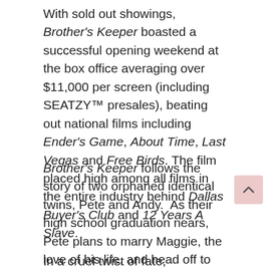With sold out showings, Brother's Keeper boasted a successful opening weekend at the box office averaging over $11,000 per screen (including SEATZY™ presales), beating out national films including Ender's Game, About Time, Last Vegas and Free Birds. The film placed high among all films in the entire industry behind Dallas Buyer's Club and 12 Years A Slave.
Brother's Keeper follows the story of two orphaned identical twins, Pete and Andy.  As their high school graduation nears, Pete plans to marry Maggie, the love of his life, and head off to school to become a preacher. Andy, who wants nothing to do with God, has no plans, no direction and seemingly no future.
In a cruel twist of fate, orchestrated by a rival for